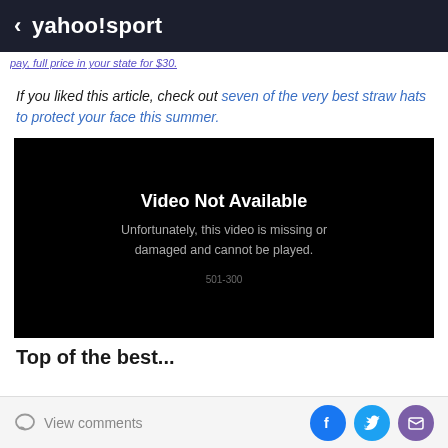< yahoo!/sport
pay, full price in your state for $30.
If you liked this article, check out seven of the very best straw hats to protect your face this summer.
[Figure (screenshot): Video Not Available error screen. Text reads: 'Video Not Available. Unfortunately, this video is missing or damaged and cannot be played. 501-300']
Top of the best...
View comments